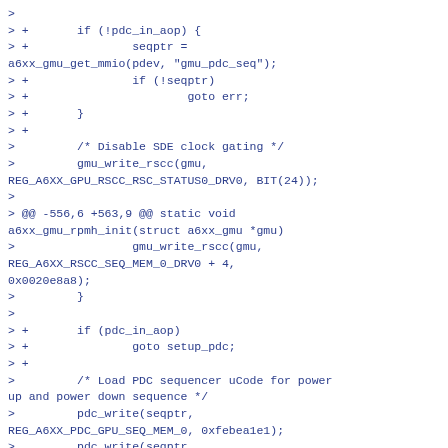>
> +       if (!pdc_in_aop) {
> +               seqptr =
a6xx_gmu_get_mmio(pdev, "gmu_pdc_seq");
> +               if (!seqptr)
> +                       goto err;
> +       }
> +
>         /* Disable SDE clock gating */
>         gmu_write_rscc(gmu,
REG_A6XX_GPU_RSCC_RSC_STATUS0_DRV0, BIT(24));
>
> @@ -556,6 +563,9 @@ static void a6xx_gmu_rpmh_init(struct a6xx_gmu *gmu)
>                 gmu_write_rscc(gmu,
REG_A6XX_RSCC_SEQ_MEM_0_DRV0 + 4,
0x0020e8a8);
>         }
>
> +       if (pdc_in_aop)
> +               goto setup_pdc;
> +
>         /* Load PDC sequencer uCode for power
up and power down sequence */
>         pdc_write(seqptr,
REG_A6XX_PDC_GPU_SEQ_MEM_0, 0xfebea1e1);
>         pdc_write(seqptr,
REG_A6XX_PDC_GPU_SEQ_MEM_0 + 1, 0xa5a4a3a2);
> @@ -596,6 +606,7 @@ static void a6xx_gmu_rpmh_init(struct a6xx_gmu *gmu)